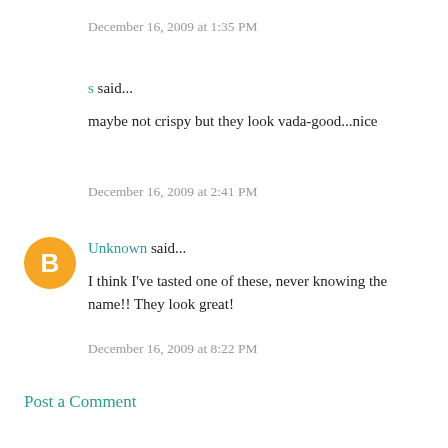December 16, 2009 at 1:35 PM
s said...
maybe not crispy but they look vada-good...nice
December 16, 2009 at 2:41 PM
[Figure (illustration): Blogger user avatar: orange circle with white 'B' letter logo]
Unknown said...
I think I've tasted one of these, never knowing the name!! They look great!
December 16, 2009 at 8:22 PM
Post a Comment